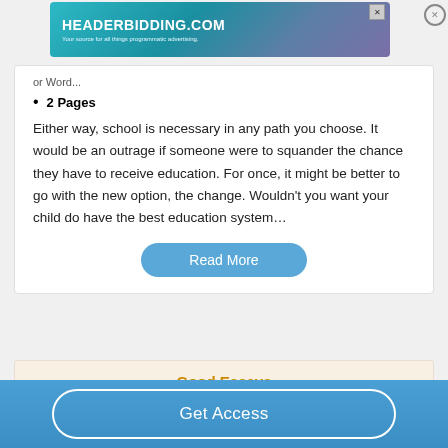[Figure (screenshot): HeaderBidding.com advertisement banner with teal/purple gradient background. Text reads 'HEADERBIDDING.COM' and 'Your source for all things programmatic advertising.']
or Word...
2 Pages
Either way, school is necessary in any path you choose. It would be an outrage if someone were to squander the chance they have to receive education. For once, it might be better to go with the new option, the change. Wouldn't you want your child do have the best education system…
Read More
Good Essays
Get Access